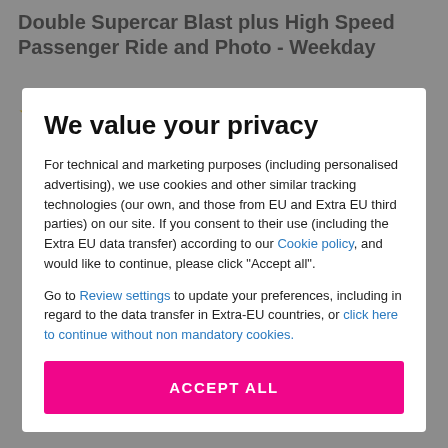Double Supercar Blast plus High Speed Passenger Ride and Photo - Weekday
[Figure (other): 4 gold/yellow star rating (4 out of 5 stars)]
We value your privacy
For technical and marketing purposes (including personalised advertising), we use cookies and other similar tracking technologies (our own, and those from EU and Extra EU third parties) on our site. If you consent to their use (including the Extra EU data transfer) according to our Cookie policy, and would like to continue, please click "Accept all".
Go to Review settings to update your preferences, including in regard to the data transfer in Extra-EU countries, or click here to continue without non mandatory cookies.
ACCEPT ALL